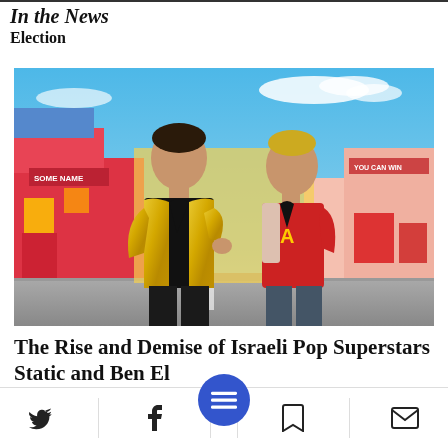In the News
Election
[Figure (photo): Two young men posing in front of colorful buildings — one in a gold/metallic blazer (left) and one in a red letterman jacket (right). Bright pop-art style background with colorful storefronts.]
The Rise and Demise of Israeli Pop Superstars Static and Ben El
[Figure (photo): Partial second article image strip, partially cut off at bottom of page.]
Toolbar with Twitter, Facebook, menu, bookmark, and mail icons